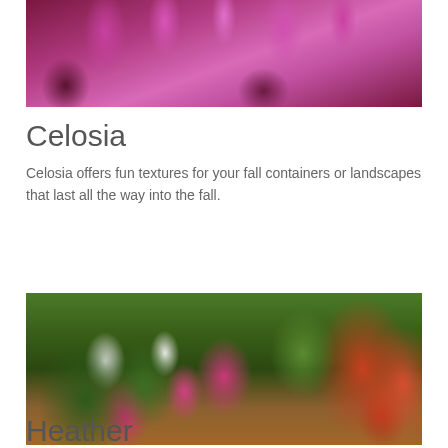[Figure (photo): Close-up photograph of celosia flowers with spiky, feathery purple-pink blooms and dark reddish-green leaves]
Celosia
Celosia offers fun textures for your fall containers or landscapes that last all the way into the fall.
[Figure (photo): Photograph of heather plants with pink and white small blooms alongside a pumpkin or gourd in an orange pot]
Heather